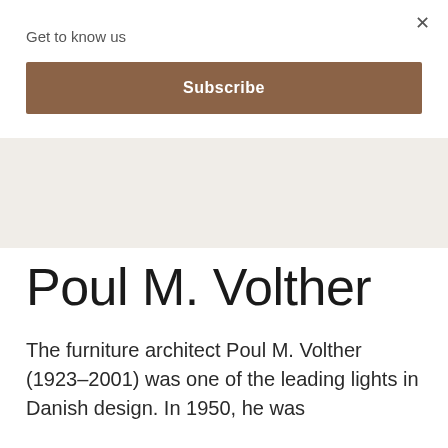Get to know us
×
Subscribe
Poul M. Volther
The furniture architect Poul M. Volther (1923–2001) was one of the leading lights in Danish design. In 1950, he was appointed his iconic...